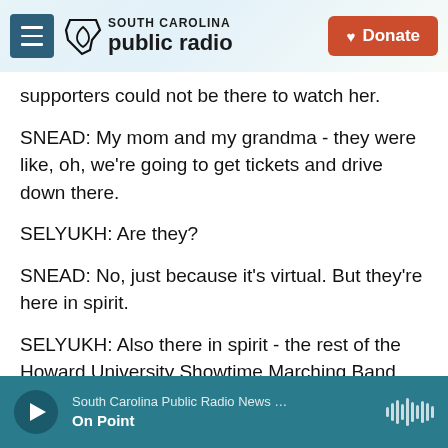South Carolina Public Radio — Donate
supporters could not be there to watch her.
SNEAD: My mom and my grandma - they were like, oh, we're going to get tickets and drive down there.
SELYUKH: Are they?
SNEAD: No, just because it's virtual. But they're here in spirit.
SELYUKH: Also there in spirit - the rest of the Howard University Showtime Marching Band. COVID restrictions meant only the drum line joined the parade.
South Carolina Public Radio News … On Point